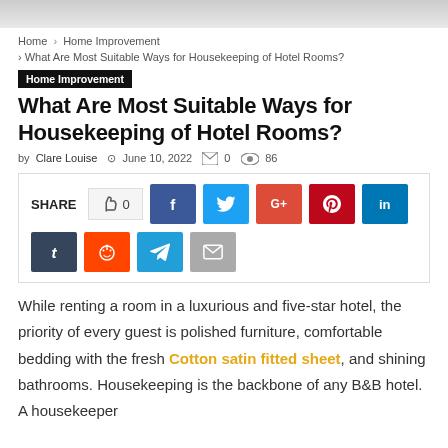[Figure (photo): Top banner image, partially cropped, light gray gradient]
Home > Home Improvement > What Are Most Suitable Ways for Housekeeping of Hotel Rooms?
Home Improvement
What Are Most Suitable Ways for Housekeeping of Hotel Rooms?
by Clare Louise  June 10, 2022  0  86
[Figure (infographic): Social share bar with SHARE label, like count 0, and social media buttons: Facebook, Twitter, Google+, Pinterest, LinkedIn, Tumblr, Reddit, Telegram, Email]
While renting a room in a luxurious and five-star hotel, the priority of every guest is polished furniture, comfortable bedding with the fresh Cotton satin fitted sheet, and shining bathrooms. Housekeeping is the backbone of any B&B hotel. A housekeeper